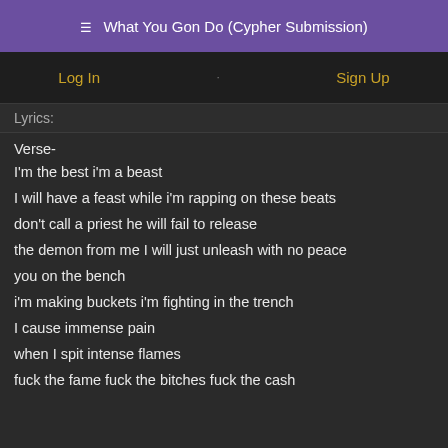☰ What You Gon Do (Cypher Submission)
Log In · Sign Up
Lyrics:
Verse-
I'm the best i'm a beast
I will have a feast while i'm rapping on these beats
don't call a priest he will fail to release
the demon from me I will just unleash with no peace
you on the bench
i'm making buckets i'm fighting in the trench
I cause immense pain
when I spit intense flames
fuck the fame fuck the bitches fuck the cash